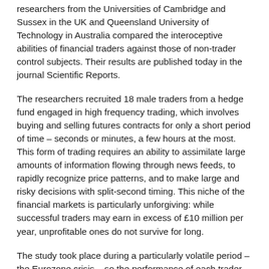researchers from the Universities of Cambridge and Sussex in the UK and Queensland University of Technology in Australia compared the interoceptive abilities of financial traders against those of non-trader control subjects. Their results are published today in the journal Scientific Reports.
The researchers recruited 18 male traders from a hedge fund engaged in high frequency trading, which involves buying and selling futures contracts for only a short period of time – seconds or minutes, a few hours at the most. This form of trading requires an ability to assimilate large amounts of information flowing through news feeds, to rapidly recognize price patterns, and to make large and risky decisions with split-second timing. This niche of the financial markets is particularly unforgiving: while successful traders may earn in excess of £10 million per year, unprofitable ones do not survive for long.
The study took place during a particularly volatile period – the Eurozone crisis – so the performance of each trader reflected his ability to make money during periods of extreme uncertainty. The researchers measured individual differences